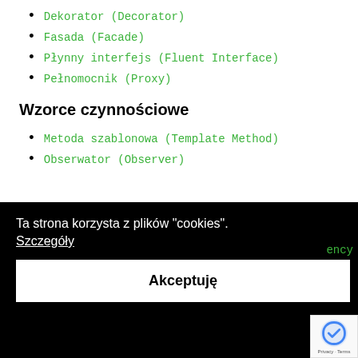Dekorator (Decorator)
Fasada (Facade)
Płynny interfejs (Fluent Interface)
Pełnomocnik (Proxy)
Wzorce czynnościowe
Metoda szablonowa (Template Method)
Obserwator (Observer)
Ta strona korzysta z plików "cookies".
Szczegóły
Akceptuję